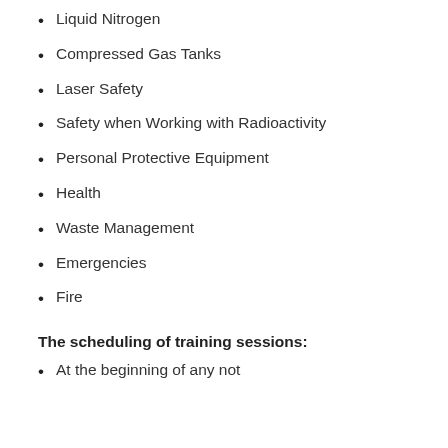Liquid Nitrogen
Compressed Gas Tanks
Laser Safety
Safety when Working with Radioactivity
Personal Protective Equipment
Health
Waste Management
Emergencies
Fire
The scheduling of training sessions:
At the beginning of any not...